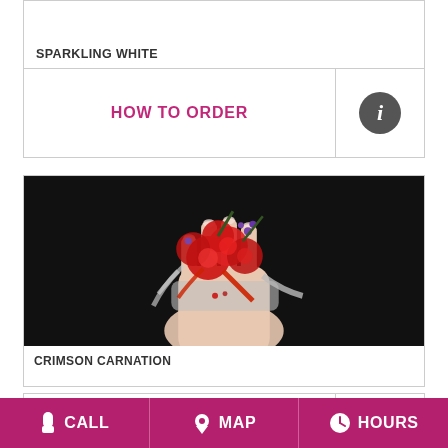SPARKLING WHITE
HOW TO ORDER
[Figure (photo): Hand wearing a crimson carnation wrist corsage with red flowers, silver and red ribbons, and small purple berries against a black background]
CRIMSON CARNATION
CALL  MAP  HOURS